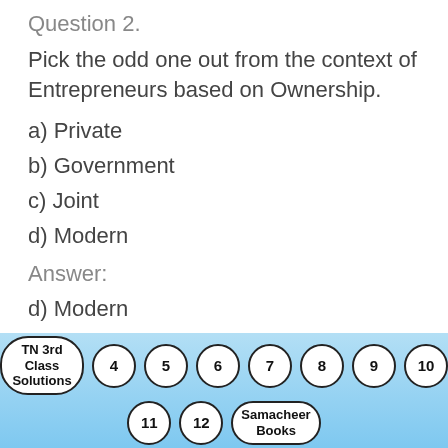Question 2.
Pick the odd one out from the context of Entrepreneurs based on Ownership.
a) Private
b) Government
c) Joint
d) Modern
Answer:
d) Modern
SamacheerKalvi.Guide
TN 3rd Class Solutions 4 5 6 7 8 9 10 11 12 Samacheer Books